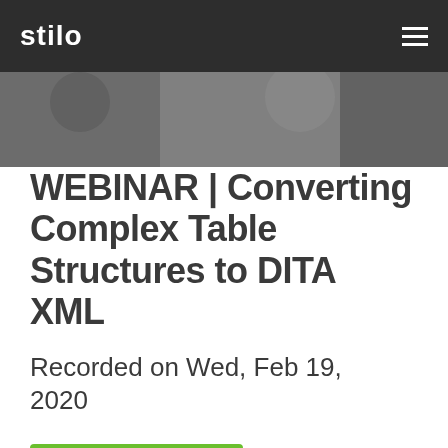stilo
[Figure (photo): Hero image showing presenters or webinar-related background photo, partially visible]
WEBINAR | Converting Complex Table Structures to DITA XML
Recorded on Wed, Feb 19, 2020
Watch Video
Our Presenters: